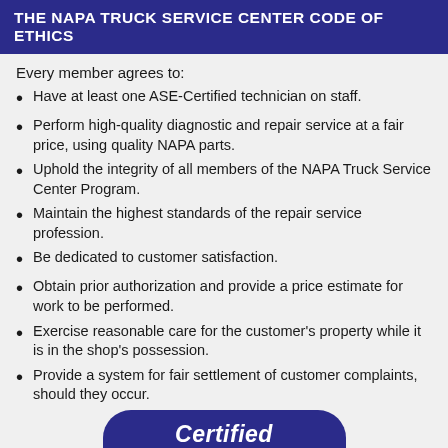THE NAPA TRUCK SERVICE CENTER CODE OF ETHICS
Every member agrees to:
Have at least one ASE-Certified technician on staff.
Perform high-quality diagnostic and repair service at a fair price, using quality NAPA parts.
Uphold the integrity of all members of the NAPA Truck Service Center Program.
Maintain the highest standards of the repair service profession.
Be dedicated to customer satisfaction.
Obtain prior authorization and provide a price estimate for work to be performed.
Exercise reasonable care for the customer's property while it is in the shop's possession.
Provide a system for fair settlement of customer complaints, should they occur.
[Figure (logo): Certified badge/seal in dark blue with rounded top corners, showing the word 'Certified' in white bold italic text]